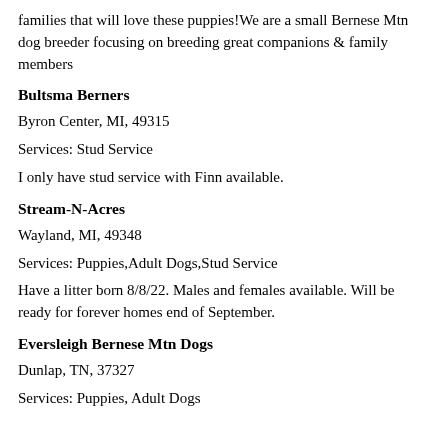families that will love these puppies!We are a small Bernese Mtn dog breeder focusing on breeding great companions & family members
Bultsma Berners
Byron Center, MI, 49315
Services: Stud Service
I only have stud service with Finn available.
Stream-N-Acres
Wayland, MI, 49348
Services: Puppies,Adult Dogs,Stud Service
Have a litter born 8/8/22. Males and females available. Will be ready for forever homes end of September.
Eversleigh Bernese Mtn Dogs
Dunlap, TN, 37327
Services: Puppies, Adult Dogs